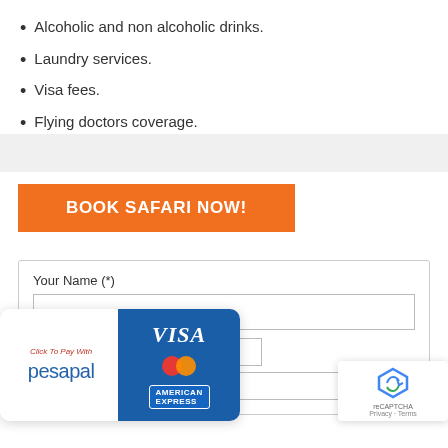Alcoholic and non alcoholic drinks.
Laundry services.
Visa fees.
Flying doctors coverage.
BOOK SAFARI NOW!
Your Name (*)
[Figure (logo): Pesapal payment card showing Click To Pay With pesapal logo alongside Visa, Mastercard, and American Express card icons]
[Figure (logo): Google reCAPTCHA badge with Privacy and Terms links]